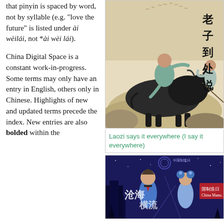that pinyin is spaced by word, not by syllable (e.g. "love the future" is listed under ài wèilái, not *ài wèi lái).
China Digital Space is a constant work-in-progress. Some terms may only have an entry in English, others only in Chinese. Highlights of new and updated terms precede the index. New entries are also bolded within the
[Figure (illustration): Traditional Chinese ink painting of a child riding a water buffalo, with Chinese characters 老子到处说 on the right side]
Laozi says it everywhere (I say it everywhere)
[Figure (illustration): Animated/digital artwork showing anime-style characters with Chinese text 国制造日 and other characters, dark blue background with spacecraft imagery]